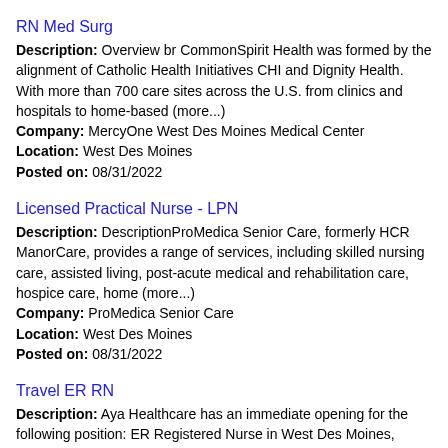RN Med Surg
Description: Overview br CommonSpirit Health was formed by the alignment of Catholic Health Initiatives CHI and Dignity Health. With more than 700 care sites across the U.S. from clinics and hospitals to home-based (more...)
Company: MercyOne West Des Moines Medical Center
Location: West Des Moines
Posted on: 08/31/2022
Licensed Practical Nurse - LPN
Description: DescriptionProMedica Senior Care, formerly HCR ManorCare, provides a range of services, including skilled nursing care, assisted living, post-acute medical and rehabilitation care, hospice care, home (more...)
Company: ProMedica Senior Care
Location: West Des Moines
Posted on: 08/31/2022
Travel ER RN
Description: Aya Healthcare has an immediate opening for the following position: ER Registered Nurse in West Des Moines, Iowa. This is a 13-week contract